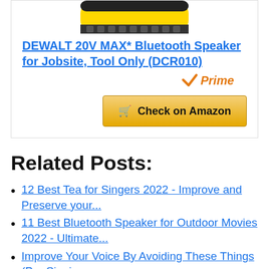[Figure (photo): Product image of DEWALT 20V MAX Bluetooth Speaker (yellow and black) partially visible at top of page]
DEWALT 20V MAX* Bluetooth Speaker for Jobsite, Tool Only (DCR010)
[Figure (logo): Amazon Prime logo with orange checkmark]
Check on Amazon
Related Posts:
12 Best Tea for Singers 2022 - Improve and Preserve your...
11 Best Bluetooth Speaker for Outdoor Movies 2022 - Ultimate...
Improve Your Voice By Avoiding These Things (Pro Singing...
5 Futuristic Music Instruments That Will...